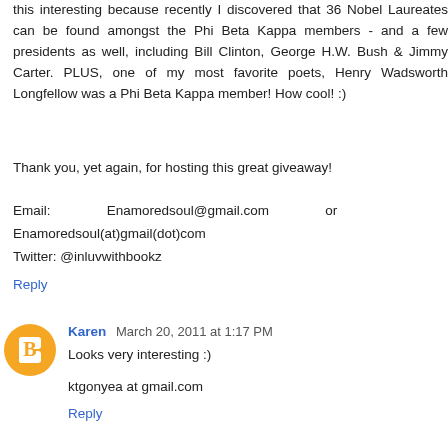this interesting because recently I discovered that 36 Nobel Laureates can be found amongst the Phi Beta Kappa members - and a few presidents as well, including Bill Clinton, George H.W. Bush & Jimmy Carter. PLUS, one of my most favorite poets, Henry Wadsworth Longfellow was a Phi Beta Kappa member! How cool! :)
Thank you, yet again, for hosting this great giveaway!
Email: Enamoredsoul@gmail.com or Enamoredsoul(at)gmail(dot)com
Twitter: @inluvwithbookz
Reply
Karen March 20, 2011 at 1:17 PM
Looks very interesting :)
ktgonyea at gmail.com
Reply